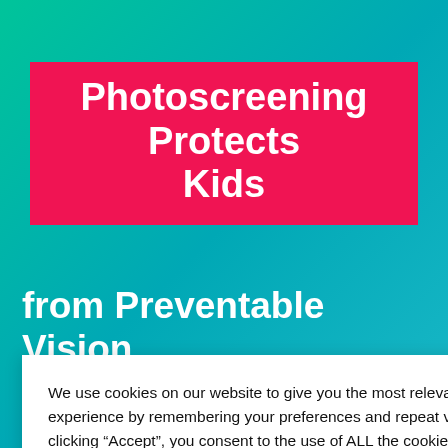Photoscreening Protects Kids
from Preventable Vision Impairment and Blindness
We use cookies on our website to give you the most relevant experience by remembering your preferences and repeat visits. By clicking “Accept”, you consent to the use of ALL the cookies.
Cookie settings
ACCEPT